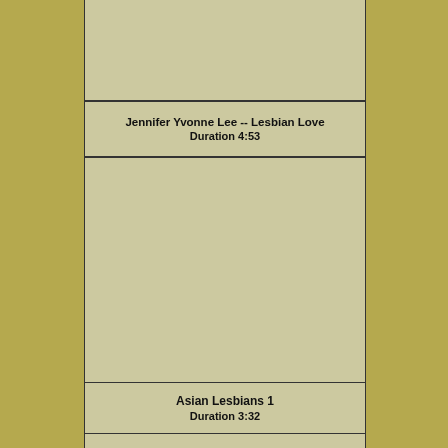[Figure (other): Video thumbnail placeholder (light olive/tan rectangle) for Jennifer Yvonne Lee -- Lesbian Love]
Jennifer Yvonne Lee -- Lesbian Love
Duration 4:53
[Figure (other): Video thumbnail placeholder (light olive/tan rectangle) for Asian Lesbians 1]
Asian Lesbians 1
Duration 3:32
[Figure (other): Video thumbnail placeholder (partial, light olive/tan rectangle) partially visible at bottom]